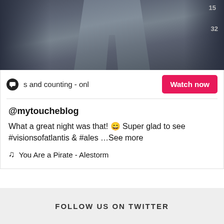[Figure (screenshot): Video thumbnail showing lower body/jeans of people, with overlaid numbers 15 and 32]
s and counting - only
Watch now
@mytoucheblog
What a great night was that! 😅 Super glad to see #visionsofatlantis & #ales …See more
♫  You Are a Pirate - Alestorm
FOLLOW US ON TWITTER